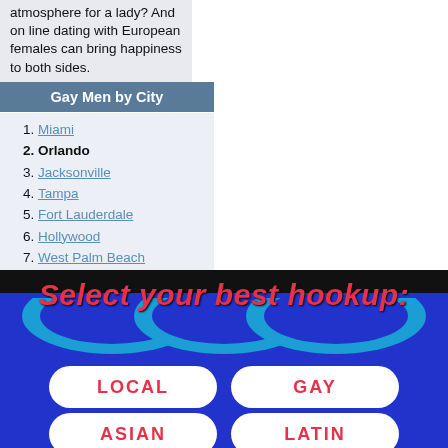atmosphere for a lady? And on line dating with European females can bring happiness to both sides.
Gay Men by City
1. Miami
2. Orlando
3. Jacksonville
4. Tampa
5. Fort Lauderdale
6. Hollywood
7. West Palm Beach
8. Pensacola
9. Saint Petersburg
10. Pompano Beach
11. Kissimmee
12. Lakeland
13. Tallahassee
14. Ocala
15. Hialeah
[Figure (screenshot): Banner ad with text 'Select your best hookup:' and four buttons: LOCAL, GAY, ASIAN, LATIN on a dark blue/black background with wave design.]